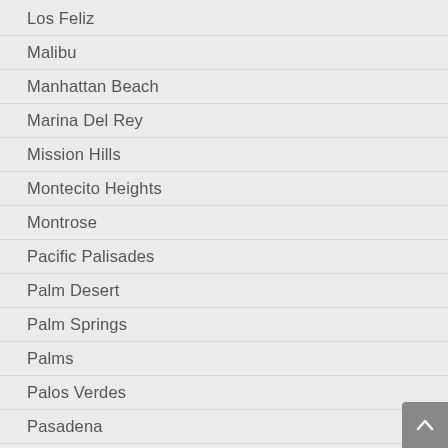Los Feliz
Malibu
Manhattan Beach
Marina Del Rey
Mission Hills
Montecito Heights
Montrose
Pacific Palisades
Palm Desert
Palm Springs
Palms
Palos Verdes
Pasadena
Playa Vista
Pomona